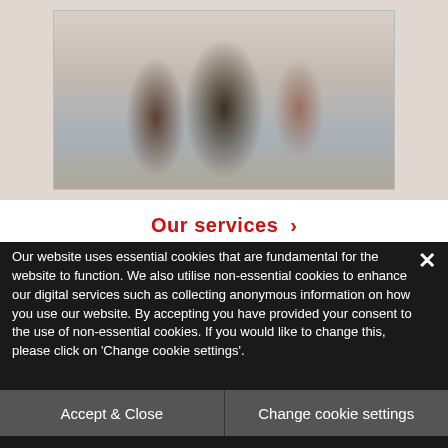[Figure (photo): Two people (a man with glasses and a woman) looking at a laptop together, working at a desk in an office/study environment.]
Our services →
Our website uses essential cookies that are fundamental for the website to function. We also utilise non-essential cookies to enhance our digital services such as collecting anonymous information on how you use our website. By accepting you have provided your consent to the use of non-essential cookies. If you would like to change this, please click on 'Change cookie settings'.
Accept & Close
Change cookie settings